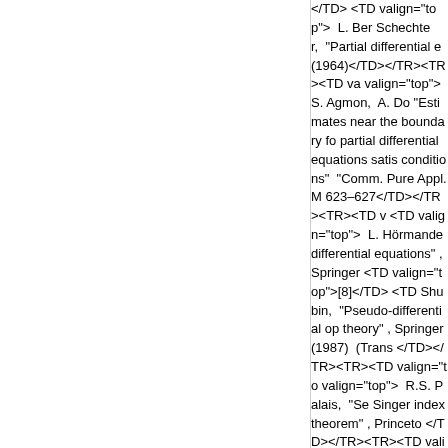</TD> <TD valign="top">  L. Ber Schechter,  "Partial differential e (1964)</TD></TR><TR><TD va valign="top">  S. Agmon,  A. Do "Estimates near the boundary fo partial differential equations satis conditions"  "Comm. Pure Appl. M 623–627</TD></TR><TR><TD v <TD valign="top">  L. Hörmande differential equations" , Springer <TD valign="top">[8]</TD> <TD Shubin,  "Pseudo-differential op theory" , Springer  (1987)  (Trans </TD></TR><TR><TD valign="to valign="top">  R.S. Palais,  "Se Singer index theorem" , Princeto </TD></TR><TR><TD valign="to valign="top">  B.W. Schulze,  "I boundary problems" , Akademie </TR><TR><TD valign="top">[1 valign="top">  L. Boutet de Monv for pseudo-differential operators